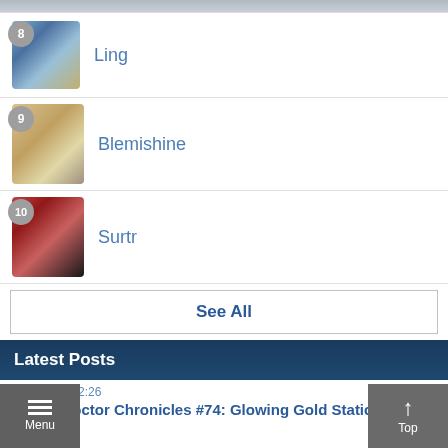[Figure (illustration): Partial top image strip at very top of page]
8 Ling
9 Blemishine
10 Surtr
See All
Latest Posts
0.../2022 - 12:26
Bored Doctor Chronicles #74: Glowing Gold Static Sa...
CatDog